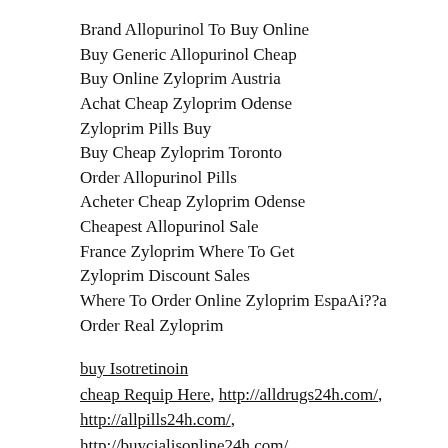Brand Allopurinol To Buy Online
Buy Generic Allopurinol Cheap
Buy Online Zyloprim Austria
Achat Cheap Zyloprim Odense
Zyloprim Pills Buy
Buy Cheap Zyloprim Toronto
Order Allopurinol Pills
Acheter Cheap Zyloprim Odense
Cheapest Allopurinol Sale
France Zyloprim Where To Get
Zyloprim Discount Sales
Where To Order Online Zyloprim EspaAi??a
Order Real Zyloprim
buy Isotretinoin
cheap Requip Here, http://alldrugs24h.com/, http://allpills24h.com/, http://buycialisonline24h.com/, http://buypills24h.com/